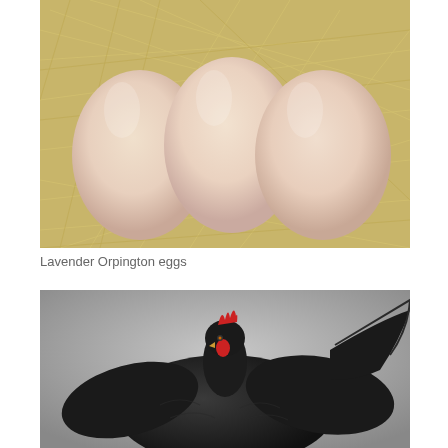[Figure (photo): Three pale pinkish-beige Lavender Orpington eggs resting on straw/hay bedding, photographed from above]
Lavender Orpington eggs
[Figure (photo): A black chicken (hen) photographed against a grey gradient background, showing its full body with wings slightly spread and red comb visible]